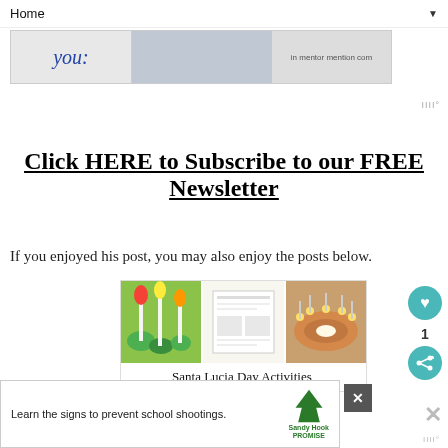Home ▼
[Figure (photo): Website banner advertisement with handwriting 'you', people photo, and red swoosh branding]
IIII°
Click HERE to Subscribe to our FREE Newsletter
If you enjoyed his post, you may also enjoy the posts below.
[Figure (photo): Three related post images: candle craft decorations, Santa Lucia coloring pages, and a ring cake with candles]
Santa Lucia Day Activities,
[Figure (photo): Bottom advertisement: Learn the signs to prevent school shootings. Sandy Hook Promise logo with green tree.]